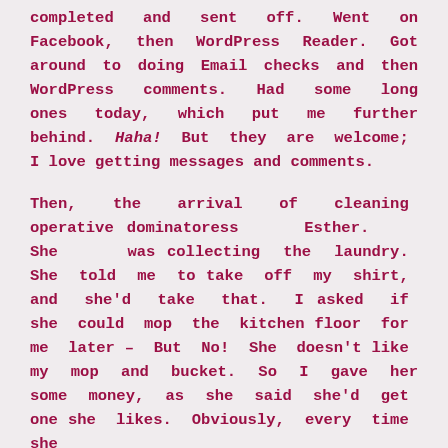completed and sent off. Went on Facebook, then WordPress Reader. Got around to doing Email checks and then WordPress comments. Had some long ones today, which put me further behind. Haha! But they are welcome; I love getting messages and comments.

Then, the arrival of cleaning operative dominatoress Esther. She was collecting the laundry. She told me to take off my shirt, and she'd take that. I asked if she could mop the kitchen floor for me later – But No! She doesn't like my mop and bucket. So I gave her some money, as she said she'd get one she likes. Obviously, every time she